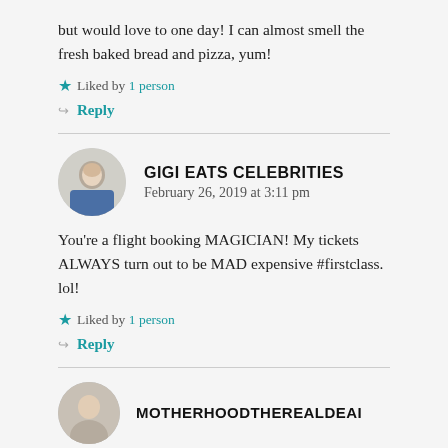but would love to one day! I can almost smell the fresh baked bread and pizza, yum!
Liked by 1 person
Reply
GIGI EATS CELEBRITIES
February 26, 2019 at 3:11 pm
You're a flight booking MAGICIAN! My tickets ALWAYS turn out to be MAD expensive #firstclass. lol!
Liked by 1 person
Reply
MOTHERHOODTHEREALDEAI